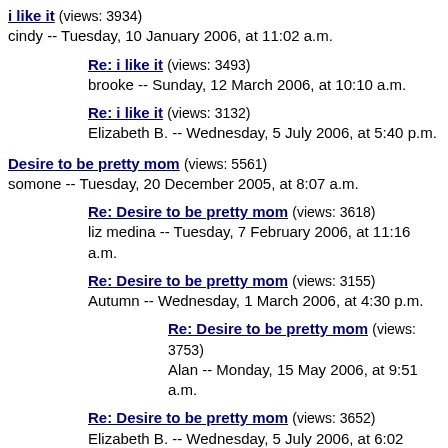i like it (views: 3934)
cindy -- Tuesday, 10 January 2006, at 11:02 a.m.
Re: i like it (views: 3493)
brooke -- Sunday, 12 March 2006, at 10:10 a.m.
Re: i like it (views: 3132)
Elizabeth B. -- Wednesday, 5 July 2006, at 5:40 p.m.
Desire to be pretty mom (views: 5561)
somone -- Tuesday, 20 December 2005, at 8:07 a.m.
Re: Desire to be pretty mom (views: 3618)
liz medina -- Tuesday, 7 February 2006, at 11:16 a.m.
Re: Desire to be pretty mom (views: 3155)
Autumn -- Wednesday, 1 March 2006, at 4:30 p.m.
Re: Desire to be pretty mom (views: 3753)
Alan -- Monday, 15 May 2006, at 9:51 a.m.
Re: Desire to be pretty mom (views: 3652)
Elizabeth B. -- Wednesday, 5 July 2006, at 6:02